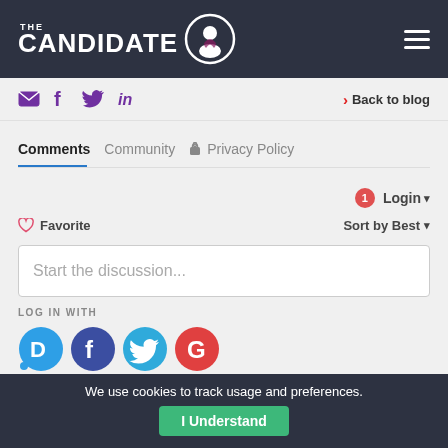[Figure (logo): The Candidate logo with circular person/heart icon on dark navy header bar, hamburger menu icon on right]
Back to blog
Comments	Community	🔒 Privacy Policy
Login ▾
♡ Favorite	Sort by Best ▾
Start the discussion...
LOG IN WITH
[Figure (infographic): Four social login icons: Disqus (blue speech bubble with D), Facebook (dark blue circle with f), Twitter (blue circle with bird), Google (red circle with G)]
We use cookies to track usage and preferences.
I Understand